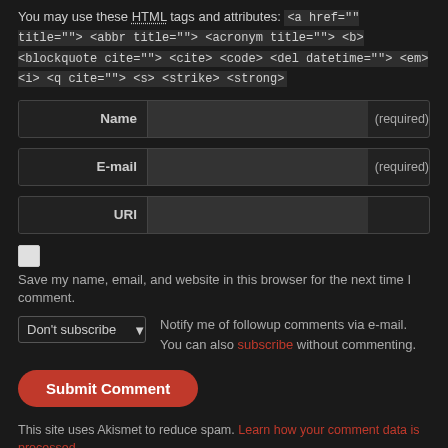You may use these HTML tags and attributes: <a href="" title=""> <abbr title=""> <acronym title=""> <b> <blockquote cite=""> <cite> <code> <del datetime=""> <em> <i> <q cite=""> <s> <strike> <strong>
| Name | (required) |
| E-mail | (required) |
| URI |  |
Save my name, email, and website in this browser for the next time I comment.
Don't subscribe  Notify me of followup comments via e-mail. You can also subscribe without commenting.
Submit Comment
This site uses Akismet to reduce spam. Learn how your comment data is processed.